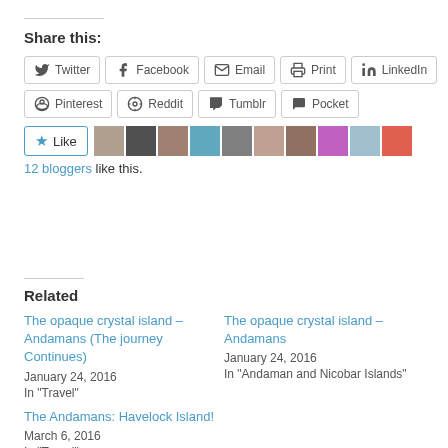Share this:
Twitter | Facebook | Email | Print | LinkedIn | Pinterest | Reddit | Tumblr | Pocket
[Figure (other): Like button with star icon and 10 blogger avatar thumbnails]
12 bloggers like this.
Related
The opaque crystal island – Andamans (The journey Continues)
January 24, 2016
In "Travel"
The opaque crystal island – Andamans
January 24, 2016
In "Andaman and Nicobar Islands"
The Andamans: Havelock Island!
March 6, 2016
In "Travel"